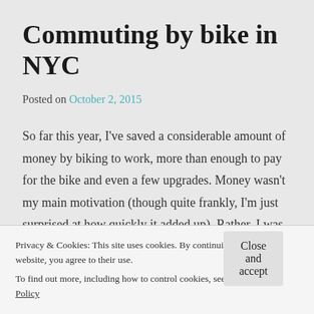Commuting by bike in NYC
Posted on October 2, 2015
So far this year, I've saved a considerable amount of money by biking to work, more than enough to pay for the bike and even a few upgrades. Money wasn't my main motivation (though quite frankly, I'm just surprised at how quickly it added up). Rather, I was frustrated with the constant service changes and delays on my train line that
Privacy & Cookies: This site uses cookies. By continuing to use this website, you agree to their use.
To find out more, including how to control cookies, see here: Cookie Policy
Close and accept